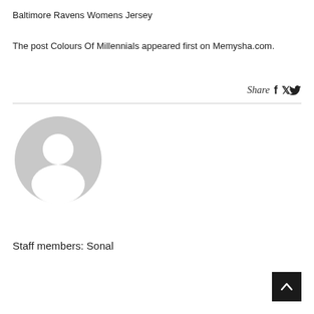Baltimore Ravens Womens Jersey
The post Colours Of Millennials appeared first on Memysha.com.
Share
[Figure (illustration): Generic grey user avatar circle with silhouette of a person (head and shoulders)]
Staff members: Sonal